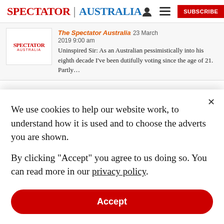SPECTATOR | AUSTRALIA
[Figure (screenshot): Spectator Australia article preview thumbnail with red logo]
The Spectator Australia 23 March 2019 9:00 am
Uninspired Sir: As an Australian pessimistically into his eighth decade I've been dutifully voting since the age of 21. Partly…
We use cookies to help our website work, to understand how it is used and to choose the adverts you are shown.

By clicking "Accept" you agree to us doing so. You can read more in our privacy policy.
Accept